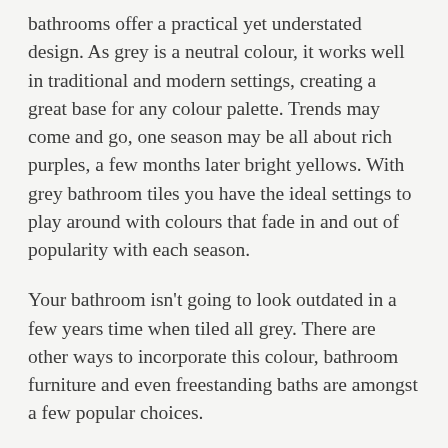bathrooms offer a practical yet understated design. As grey is a neutral colour, it works well in traditional and modern settings, creating a great base for any colour palette. Trends may come and go, one season may be all about rich purples, a few months later bright yellows. With grey bathroom tiles you have the ideal settings to play around with colours that fade in and out of popularity with each season.
Your bathroom isn't going to look outdated in a few years time when tiled all grey. There are other ways to incorporate this colour, bathroom furniture and even freestanding baths are amongst a few popular choices.
Subway tiles are a great option here. The advantage with these, is that you can cover as much or as little of the wall as you wish. You can also just use the half…